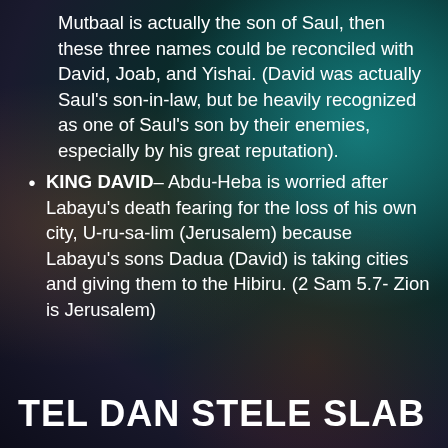Mutbaal is actually the son of Saul, then these three names could be reconciled with David, Joab, and Yishai. (David was actually Saul's son-in-law, but be heavily recognized as one of Saul's son by their enemies, especially by his great reputation).
KING DAVID– Abdu-Heba is worried after Labayu's death fearing for the loss of his own city, U-ru-sa-lim (Jerusalem) because Labayu's sons Dadua (David) is taking cities and giving them to the Hibiru. (2 Sam 5.7- Zion is Jerusalem)
TEL DAN STELE SLAB